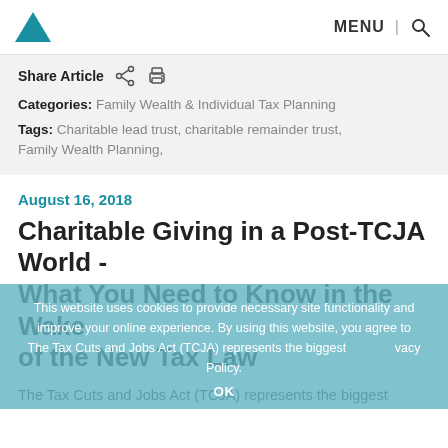MENU | [search icon]
Share Article [share icon] [print icon]
Categories: Family Wealth & Individual Tax Planning
Tags: Charitable lead trust, charitable remainder trust, Family Wealth Planning,
August 16, 2018
Charitable Giving in a Post-TCJA World - What You Need to Know in the Wake of the New Tax Law
The Tax Cuts and Jobs Act (TCJA) represents the biggest overhaul of the tax code in more than three decades. Tax experts are still sorting out all the intricacies. But this much is clear: The TCJA will have a significant impact on estate
This website uses cookies to provide necessary site functionality and improve your online experience. By using this website, you agree to The Tax Cuts and Jobs Act (TCJA) represents the biggest vacy Policy. OK